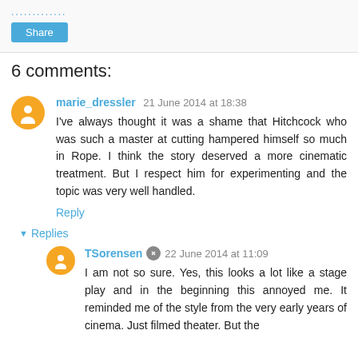............
Share
6 comments:
marie_dressler  21 June 2014 at 18:38
I've always thought it was a shame that Hitchcock who was such a master at cutting hampered himself so much in Rope. I think the story deserved a more cinematic treatment. But I respect him for experimenting and the topic was very well handled.
Reply
▼ Replies
TSorensen  22 June 2014 at 11:09
I am not so sure. Yes, this looks a lot like a stage play and in the beginning this annoyed me. It reminded me of the style from the very early years of cinema. Just filmed theater. But the